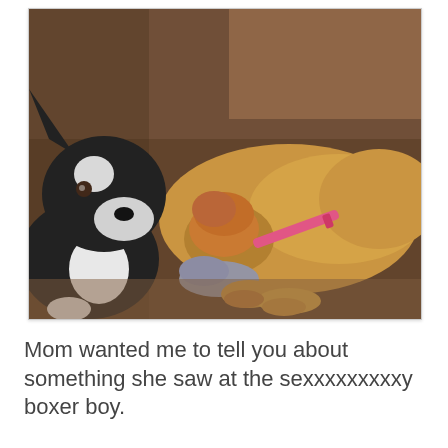[Figure (photo): Two dogs on a brown couch. A black and white Boston Terrier on the left is sniffing a golden/tan dog wearing a pink collar on the right. The golden dog is lying down with a stuffed toy animal beneath its head and paws.]
Mom wanted me to tell you about something she saw at the sexxxxxxxxxy boxer boy.